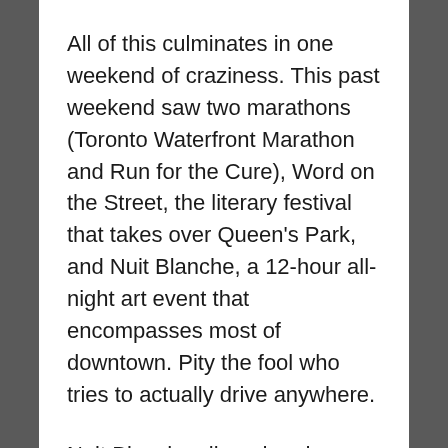All of this culminates in one weekend of craziness. This past weekend saw two marathons (Toronto Waterfront Marathon and Run for the Cure), Word on the Street, the literary festival that takes over Queen's Park, and Nuit Blanche, a 12-hour all-night art event that encompasses most of downtown. Pity the fool who tries to actually drive anywhere.
Nuit Blanche slipped under my radar last year, and I wasn't super psyched about it this year, but as one of the 3 zones was in our neighbourhood, we wandered around to check out a few things. We watched parkour